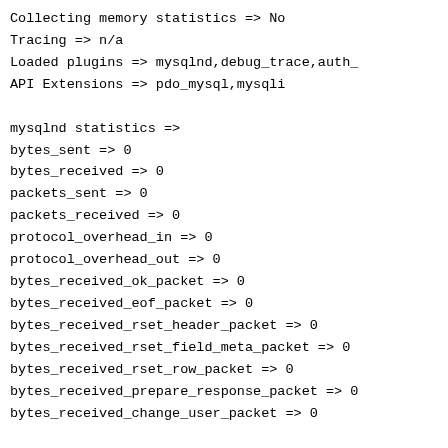Collecting memory statistics => No
Tracing => n/a
Loaded plugins => mysqlnd,debug_trace,auth_
API Extensions => pdo_mysql,mysqli

mysqlnd statistics =>
bytes_sent => 0
bytes_received => 0
packets_sent => 0
packets_received => 0
protocol_overhead_in => 0
protocol_overhead_out => 0
bytes_received_ok_packet => 0
bytes_received_eof_packet => 0
bytes_received_rset_header_packet => 0
bytes_received_rset_field_meta_packet => 0
bytes_received_rset_row_packet => 0
bytes_received_prepare_response_packet => 0
bytes_received_change_user_packet => 0